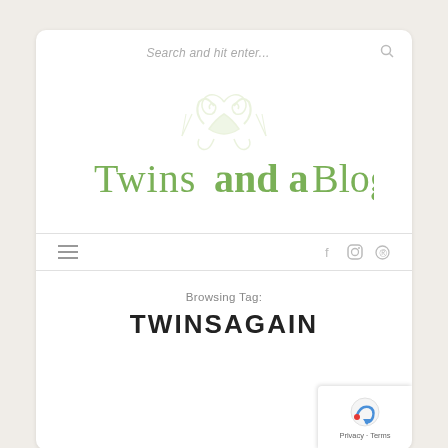Search and hit enter...
[Figure (logo): Twins and a Blog logo with decorative green swirl/figure graphic above the text]
hamburger menu icon and social icons: f (Facebook), Instagram, Pinterest
Browsing Tag:
TWINSAGAIN